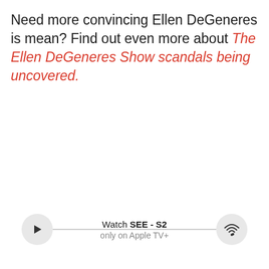Need more convincing Ellen DeGeneres is mean? Find out even more about The Ellen DeGeneres Show scandals being uncovered.
[Figure (other): Media player widget showing Watch SEE - S2 only on Apple TV+, with a play button on the left, a horizontal progress/track line in the middle, and a wifi/airplay icon button on the right.]